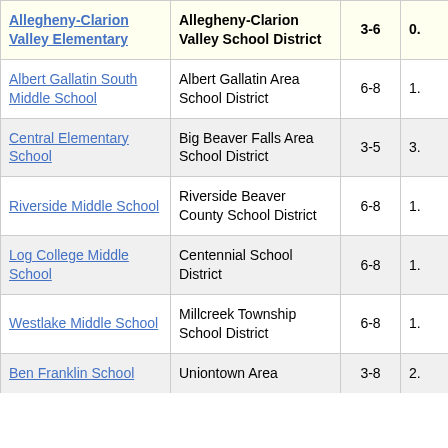| School | District | Grades |  |
| --- | --- | --- | --- |
| Allegheny-Clarion Valley Elementary | Allegheny-Clarion Valley School District | 3-6 | 0. |
| Albert Gallatin South Middle School | Albert Gallatin Area School District | 6-8 | 1. |
| Central Elementary School | Big Beaver Falls Area School District | 3-5 | 3. |
| Riverside Middle School | Riverside Beaver County School District | 6-8 | 1. |
| Log College Middle School | Centennial School District | 6-8 | 1. |
| Westlake Middle School | Millcreek Township School District | 6-8 | 1. |
| Ben Franklin School | Uniontown Area | 3-8 | 2. |